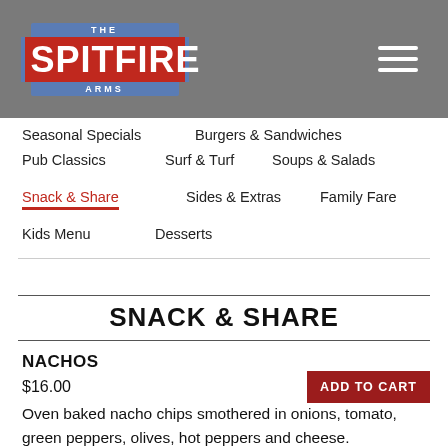THE SPITFIRE ARMS
Seasonal Specials
Burgers & Sandwiches
Pub Classics
Surf & Turf
Soups & Salads
Snack & Share
Sides & Extras
Family Fare
Kids Menu
Desserts
SNACK & SHARE
NACHOS
$16.00
ADD TO CART
Oven baked nacho chips smothered in onions, tomato, green peppers, olives, hot peppers and cheese.